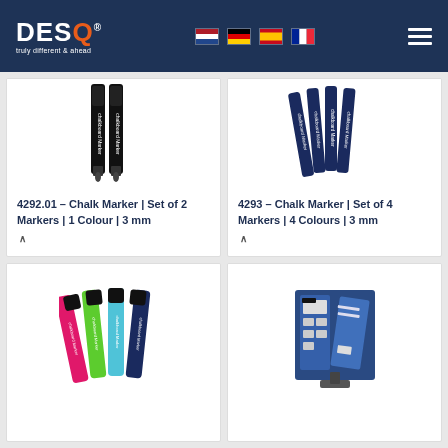DESQ - truly different & ahead (website header with navigation flags and hamburger menu)
[Figure (photo): Product photo: 4292.01 Chalk Marker, Set of 2 black markers, 1 Colour, 3mm tip]
4292.01 – Chalk Marker | Set of 2 Markers | 1 Colour | 3 mm
[Figure (photo): Product photo: 4293 Chalk Marker, Set of 4 dark blue markers, 4 Colours, 3mm tip]
4293 – Chalk Marker | Set of 4 Markers | 4 Colours | 3 mm
[Figure (photo): Product photo: Chalk markers set of 4 in pink, green, light blue, and dark blue colours]
[Figure (photo): Product photo: Ergonomic display stand/flipchart board product]